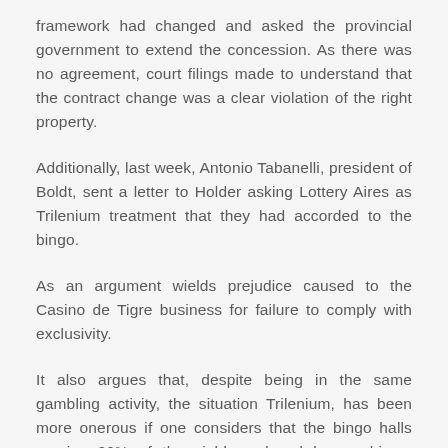framework had changed and asked the provincial government to extend the concession. As there was no agreement, court filings made to understand that the contract change was a clear violation of the right property.
Additionally, last week, Antonio Tabanelli, president of Boldt, sent a letter to Holder asking Lottery Aires as Trilenium treatment that they had accorded to the bingo.
As an argument wields prejudice caused to the Casino de Tigre business for failure to comply with exclusivity.
It also argues that, despite being in the same gambling activity, the situation Trilenium, has been more onerous if one considers that the bingo halls receive 66% of the yield produced by machines, while that perceived